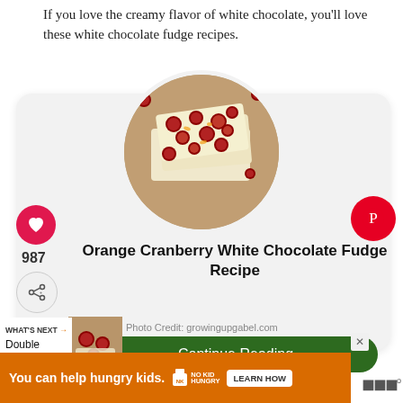If you love the creamy flavor of white chocolate, you'll love these white chocolate fudge recipes.
[Figure (screenshot): Pinterest-style card showing a circular photo of Orange Cranberry White Chocolate Fudge, with a heart/like button (987 likes), share button, Pinterest save button, recipe title, photo credit from growingupgabel.com, and a dark green Continue Reading button. Below is a What's Next section for Double Chocolate and an advertisement banner for No Kid Hungry campaign.]
Orange Cranberry White Chocolate Fudge Recipe
Photo Credit: growingupgabel.com
Continue Reading
WHAT'S NEXT → Double Chocolate...
You can help hungry kids. NO KID HUNGRY LEARN HOW